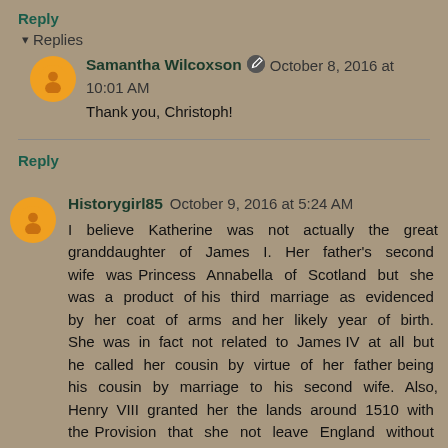Reply
Replies
Samantha Wilcoxson ✏ October 8, 2016 at 10:01 AM
Thank you, Christoph!
Reply
Historygirl85 October 9, 2016 at 5:24 AM
I believe Katherine was not actually the great granddaughter of James I. Her father's second wife was Princess Annabella of Scotland but she was a product of his third marriage as evidenced by her coat of arms and her likely year of birth. She was in fact not related to James IV at all but he called her cousin by virtue of her father being his cousin by marriage to his second wife. Also, Henry VIII granted her the lands around 1510 with the Provision that she not leave England without royal licence